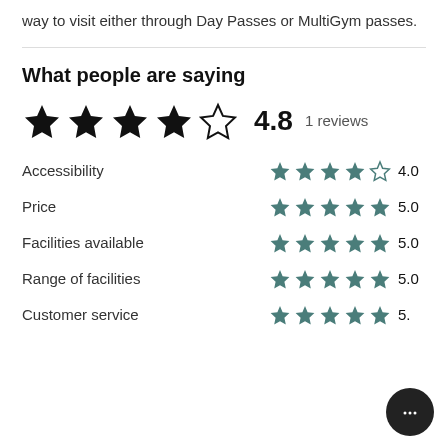way to visit either through Day Passes or MultiGym passes.
What people are saying
4.8  1 reviews
| Category | Stars | Score |
| --- | --- | --- |
| Accessibility | ★★★★☆ | 4.0 |
| Price | ★★★★★ | 5.0 |
| Facilities available | ★★★★★ | 5.0 |
| Range of facilities | ★★★★★ | 5.0 |
| Customer service | ★★★★★ | 5. |